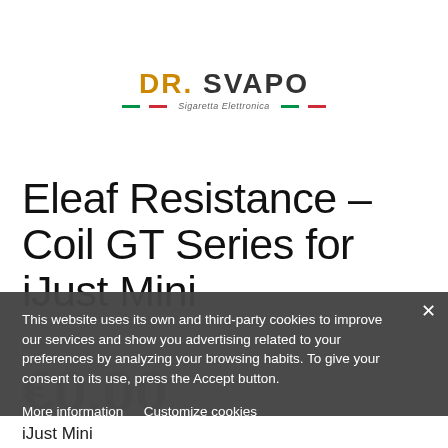[Figure (logo): DR. SVAPO logo with Italian flag color accent and tagline 'Sigaretta Elettronica']
Eleaf Resistance – Coil GT Series for iJust Mini
Eleaf
€0.00
ordini entro le 12:00
This website uses its own and third-party cookies to improve our services and show you advertising related to your preferences by analyzing your browsing habits. To give your consent to its use, press the Accept button.
More information   Customize cookies
I ACCEPT
iJust Mini